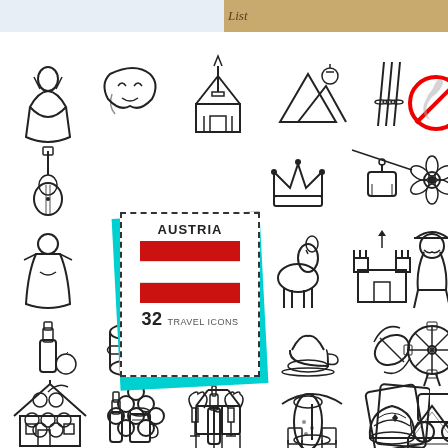[Figure (illustration): Austria travel icons set: 32 outline icons including traditional dress, theatre masks, cathedral, mountains, ski poles, no kangaroo sign, guitar, postage stamp with Austrian flag labeled 'AUSTRIA 32 Travel Icons', crown, cable car, edelweiss flower, dirndl dress, llama, castle, Austrian man in hat, schnapps bottle with fruit, beer barrel, apple strudel, coffee with cream, candy, Ferris wheel, grape vine, beer bottles, lederhosen, sausage, jelly mold, cake slice, chalet house, grapes, wine bottle and glass, cafe scene, playing card/menu, horse carriage]
AUSTRIA — 32 TRAVEL ICONS